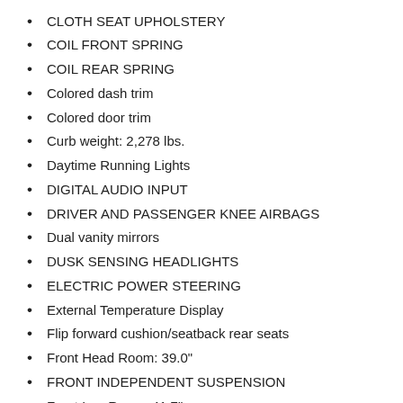CLOTH SEAT UPHOLSTERY
COIL FRONT SPRING
COIL REAR SPRING
Colored dash trim
Colored door trim
Curb weight: 2,278 lbs.
Daytime Running Lights
DIGITAL AUDIO INPUT
DRIVER AND PASSENGER KNEE AIRBAGS
Dual vanity mirrors
DUSK SENSING HEADLIGHTS
ELECTRIC POWER STEERING
External Temperature Display
Flip forward cushion/seatback rear seats
Front Head Room: 39.0"
FRONT INDEPENDENT SUSPENSION
Front Leg Room: 41.7"
FRONT SUSPENSION STABILIZER BAR